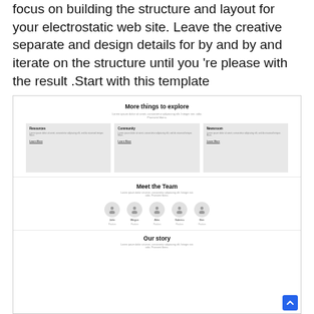focus on building the structure and layout for your electrostatic web site. Leave the creative separate and design details for by and by and iterate on the structure until you ’re please with the result .Start with this template
[Figure (screenshot): A website template screenshot showing three sections: 'More things to explore' with three cards (Resources, Community, Newsroom each with Learn More links), 'Meet the Team' with five team members (John, Megan, Alex, Sabrina, Ben) each with circular avatar icons and role labels, and an 'Our story' section header with subtitle text. A blue scroll-to-top button is visible in the bottom right.]